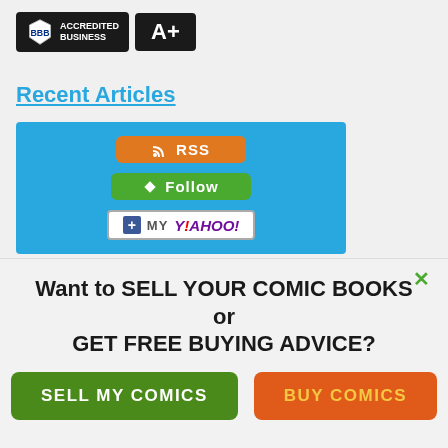[Figure (logo): BBB Accredited Business badge with A+ rating]
Recent Articles
[Figure (infographic): RSS subscription widget with RSS button, Follow button, and My Yahoo button on blue background]
Most Valuable Comic Books: Top 100
Want to SELL YOUR COMIC BOOKS or GET FREE BUYING ADVICE?
SELL MY COMICS
BUY COMICS